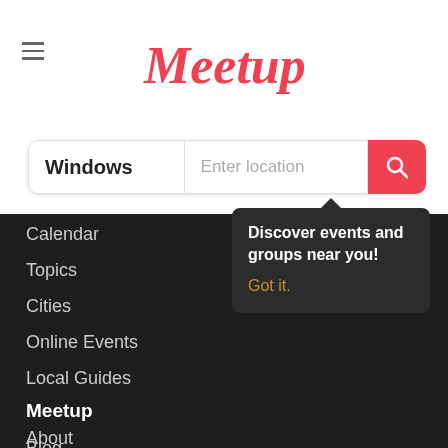[Figure (logo): Meetup logo in red cursive/script font]
Windows
Enter location
Calendar
Topics
Cities
Online Events
Local Guides
Meetup
About
Blog
Meetup Pro
Careers
Apps
Discover events and groups near you!
Got it.